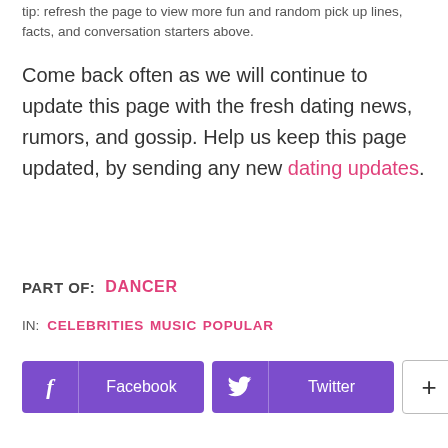tip: refresh the page to view more fun and random pick up lines, facts, and conversation starters above.
Come back often as we will continue to update this page with the fresh dating news, rumors, and gossip. Help us keep this page updated, by sending any new dating updates.
PART OF:   DANCER
IN:  CELEBRITIES  MUSIC  POPULAR